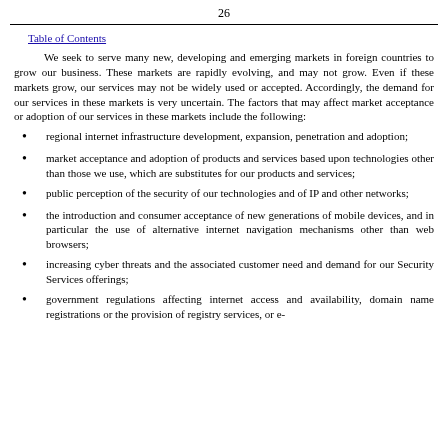26
Table of Contents
We seek to serve many new, developing and emerging markets in foreign countries to grow our business. These markets are rapidly evolving, and may not grow. Even if these markets grow, our services may not be widely used or accepted. Accordingly, the demand for our services in these markets is very uncertain. The factors that may affect market acceptance or adoption of our services in these markets include the following:
regional internet infrastructure development, expansion, penetration and adoption;
market acceptance and adoption of products and services based upon technologies other than those we use, which are substitutes for our products and services;
public perception of the security of our technologies and of IP and other networks;
the introduction and consumer acceptance of new generations of mobile devices, and in particular the use of alternative internet navigation mechanisms other than web browsers;
increasing cyber threats and the associated customer need and demand for our Security Services offerings;
government regulations affecting internet access and availability, domain name registrations or the provision of registry services, or e-